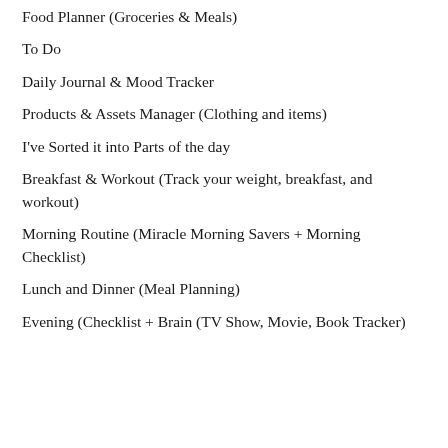Food Planner (Groceries & Meals)
To Do
Daily Journal & Mood Tracker
Products & Assets Manager (Clothing and items)
I've Sorted it into Parts of the day
Breakfast & Workout (Track your weight, breakfast, and workout)
Morning Routine (Miracle Morning Savers + Morning Checklist)
Lunch and Dinner (Meal Planning)
Evening (Checklist + Brain (TV Show, Movie, Book Tracker)